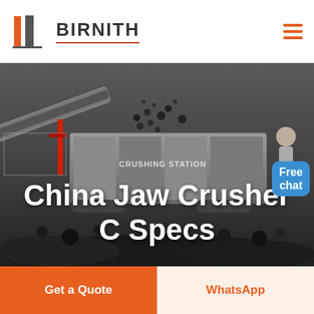[Figure (logo): Birnith company logo with orange and grey building/pillar icon and brand name BIRNITH in bold with red underline, plus hamburger menu icon on right]
[Figure (photo): Industrial crushing station machinery with large jaw crusher equipment, dark aggregate coal material piled around it, workers visible, text CRUSHING STATION visible on machine body. Dark moody industrial photo.]
China Jaw Crusher C Specs
[Figure (infographic): Free chat button - blue rounded rectangle with text Free chat, with customer service representative figure above]
Get a Quote
WhatsApp